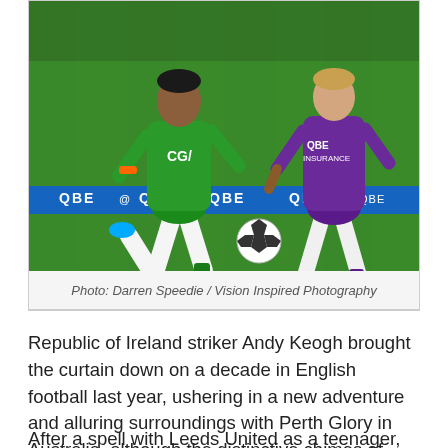[Figure (photo): Two soccer players competing during a match — one in green and white (away) kit, one in purple (Perth Glory) kit — on a green pitch with QBE advertising boards in the background.]
Photo: Darren Speedie / Vision Inspired Photography
Republic of Ireland striker Andy Keogh brought the curtain down on a decade in English football last year, ushering in a new adventure and alluring surroundings with Perth Glory in Australia, although the distinctive chimes of back home are as fresh in the mind as ever.
After a spell with Leeds United as a teenager, the Dubliner first permanent move was with Scunthorpe